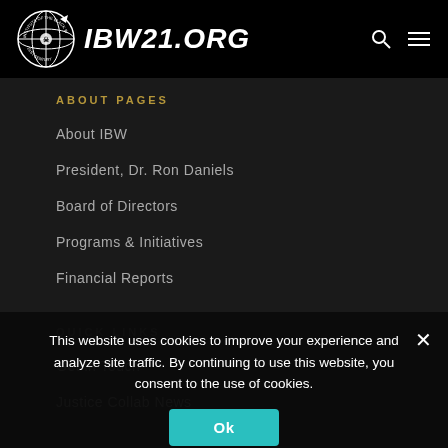[Figure (logo): IBW21.ORG website header with circular globe logo and site name in bold italic white text on black background, with search and hamburger menu icons]
ABOUT PAGES
About IBW
President, Dr. Ron Daniels
Board of Directors
Programs & Initiatives
Financial Reports
QUICK LINKS
Get in Touch
Justice Collab News
This website uses cookies to improve your experience and analyze site traffic. By continuing to use this website, you consent to the use of cookies.